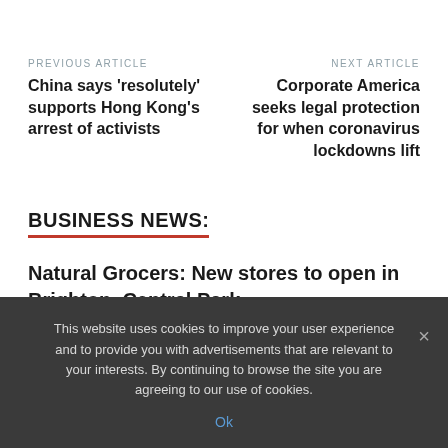PREVIOUS ARTICLE
China says 'resolutely' supports Hong Kong's arrest of activists
NEXT ARTICLE
Corporate America seeks legal protection for when coronavirus lockdowns lift
BUSINESS NEWS:
Natural Grocers: New stores to open in Brighton, Central Park
This website uses cookies to improve your user experience and to provide you with advertisements that are relevant to your interests. By continuing to browse the site you are agreeing to our use of cookies.
Ok